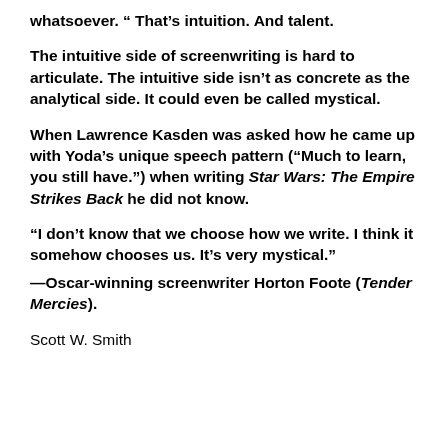whatsoever. “ That’s intuition. And talent.
The intuitive side of screenwriting is hard to articulate. The intuitive side isn’t as concrete as the analytical side. It could even be called mystical.
When Lawrence Kasden was asked how he came up with Yoda’s unique speech pattern (“Much to learn, you still have.”) when writing Star Wars: The Empire Strikes Back he did not know.
“I don’t know that we choose how we write. I think it somehow chooses us. It’s very mystical.” —Oscar-winning screenwriter Horton Foote (Tender Mercies).
Scott W. Smith